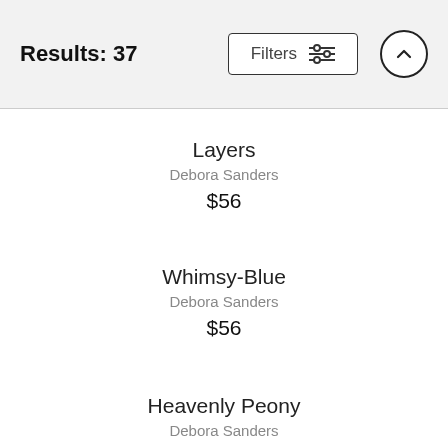Results: 37
Layers
Debora Sanders
$56
Whimsy-Blue
Debora Sanders
$56
Heavenly Peony
Debora Sanders